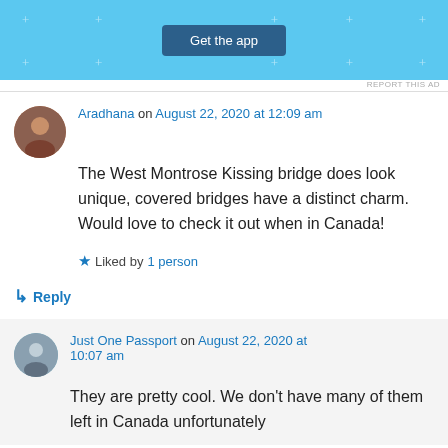[Figure (screenshot): Blue ad banner with 'Get the app' button]
REPORT THIS AD
Aradhana on August 22, 2020 at 12:09 am
The West Montrose Kissing bridge does look unique, covered bridges have a distinct charm. Would love to check it out when in Canada!
Liked by 1 person
↳ Reply
Just One Passport on August 22, 2020 at 10:07 am
They are pretty cool. We don't have many of them left in Canada unfortunately